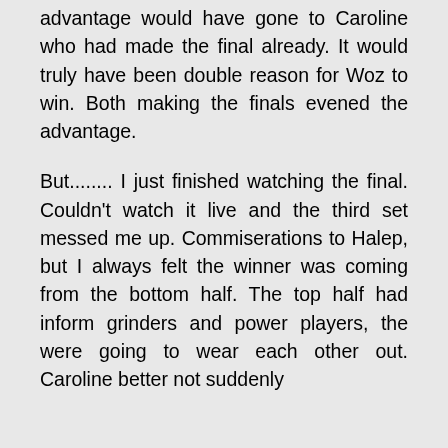advantage would have gone to Caroline who had made the final already. It would truly have been double reason for Woz to win. Both making the finals evened the advantage.
But........ I just finished watching the final. Couldn't watch it live and the third set messed me up. Commiserations to Halep, but I always felt the winner was coming from the bottom half. The top half had inform grinders and power players, the were going to wear each other out. Caroline better not suddenly